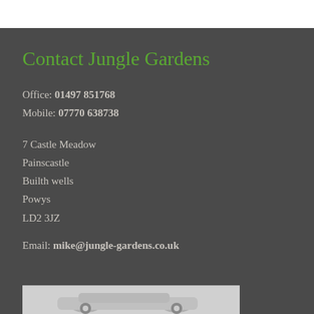Contact Jungle Gardens
Office: 01497 851768
Mobile: 07770 638738
7 Castle Meadow
Painscastle
Builth wells
Powys
LD2 3JZ
Email: mike@jungle-gardens.co.uk
[Figure (photo): Partial image of a car visible at the bottom of the page]